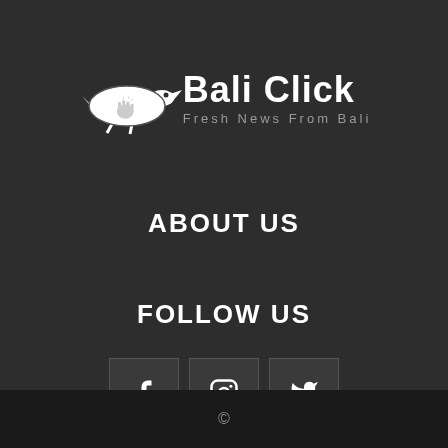[Figure (logo): Bali Click logo with a crocodile/bird silhouette and clicking hand icon, with text 'Bali Click' and subtitle 'Fresh News From Bali']
ABOUT US
FOLLOW US
[Figure (infographic): Three social media icon buttons: Facebook (f), Instagram (camera), Twitter (bird)]
©